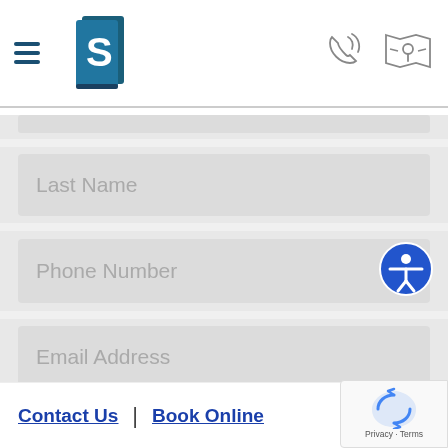[Figure (logo): Medical/legal office logo with stylized letter S on teal book icon]
[Figure (other): Phone icon with signal waves]
[Figure (other): Map/location icon]
Last Name
Phone Number
Email Address
Procedure Of Interest
Contact Us | Book Online